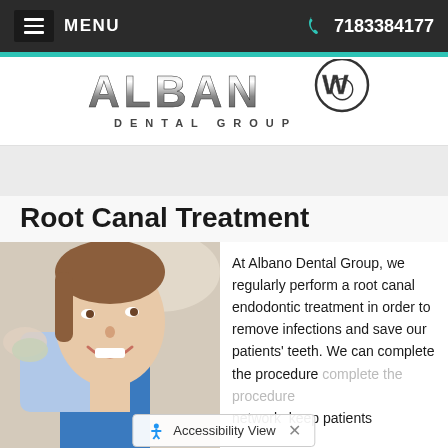MENU   7183384177
[Figure (logo): Albano Dental Group logo with stylized chrome lettering and tooth icon]
Root Canal Treatment
[Figure (photo): Young woman smiling in dental chair, looking up, with dental light in background]
At Albano Dental Group, we regularly perform a root canal endodontic treatment in order to remove infections and save our patients' teeth. We can complete the procedure network keep patients